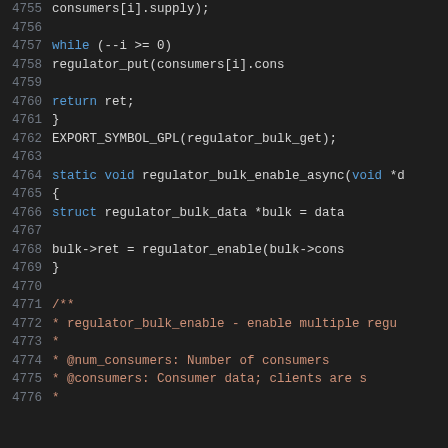[Figure (screenshot): Source code listing showing C kernel code for regulator bulk functions, lines 4755-4775, with syntax highlighting on a dark background. Keywords in blue, function names in yellow, comments in red/orange, line numbers in grey.]